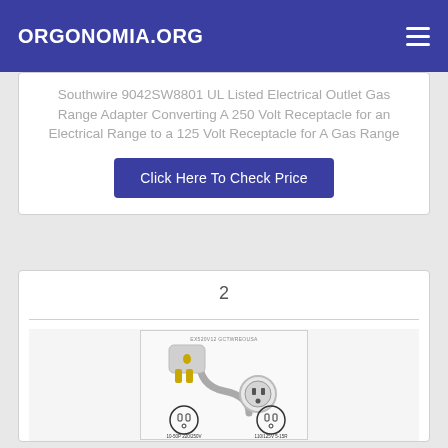ORGONOMIA.ORG
Southwire 9042SW8801 UL Listed Electrical Outlet Gas Range Adapter Converting A 250 Volt Receptacle for an Electrical Range to a 125 Volt Receptacle for A Gas Range
Click Here To Check Price
2
[Figure (photo): Photo of an electrical outlet adapter product — a short cable with a 10-50P 220/250V male plug on one end and a 110/125V 5-15R female connector on the other, with plug diagrams labeled below. Small text reads: EX520V12 GCTWREOUS A]